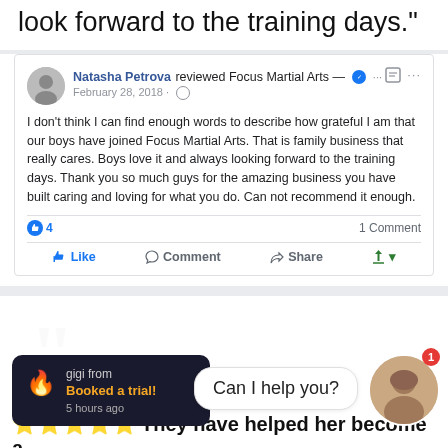look forward to the training days."
[Figure (screenshot): Facebook review by Natasha Petrova for Focus Martial Arts, dated February 28, 2018. Review text: I don't think I can find enough words to describe how grateful I am that our boys have joined Focus Martial Arts. That is family business that really cares. Boys love it and always looking forward to the training days. Thank you so much guys for the amazing business you have built caring and loving for what you do. Can not recommend it enough. 4 likes, 1 Comment. Like, Comment, Share action buttons.]
[Figure (screenshot): Bottom section showing a chat popup notification: 'gigi from Booked a trial! 5 hours ago' with fire emoji, a chat bubble saying 'Can I help you?', a circular avatar photo of a woman, a red badge showing '1', and partial bottom quote text: starred emoji They have helped her become a]
"⭐⭐⭐⭐⭐They have helped her become a